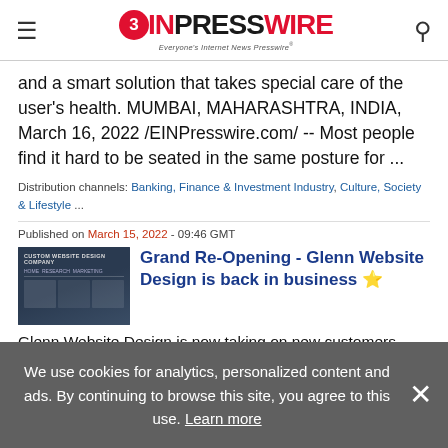EINPresswire - Everyone's Internet News Presswire
and a smart solution that takes special care of the user's health. MUMBAI, MAHARASHTRA, INDIA, March 16, 2022 /EINPresswire.com/ -- Most people find it hard to be seated in the same posture for ...
Distribution channels: Banking, Finance & Investment Industry, Culture, Society & Lifestyle ...
Published on March 15, 2022 - 09:46 GMT
[Figure (screenshot): Thumbnail image of Glenn Website Design Company webpage showing a dark blue website layout with navigation and columns]
Grand Re-Opening - Glenn Website Design is back in business ⭐
Glenn Website Design is now taking on new customers. Glenn is a custom website company for small businesses with a need for local and national representation. TULSA, OK, UNITED STATES, March 15,
We use cookies for analytics, personalized content and ads. By continuing to browse this site, you agree to this use. Learn more